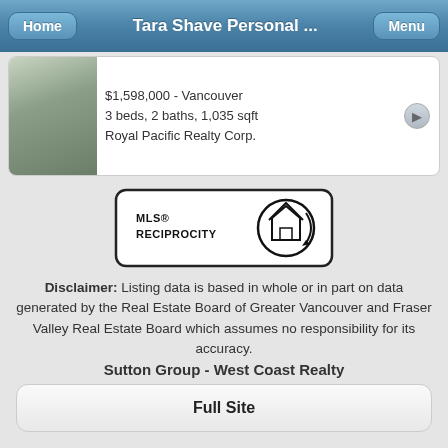Tara Shave Personal ...
$1,598,000 - Vancouver
3 beds, 2 baths, 1,035 sqft
Royal Pacific Realty Corp.
[Figure (logo): MLS Reciprocity logo — rounded rectangle border containing 'MLS® RECIPROCITY' text and a house-in-circle icon]
Disclaimer: Listing data is based in whole or in part on data generated by the Real Estate Board of Greater Vancouver and Fraser Valley Real Estate Board which assumes no responsibility for its accuracy.
Sutton Group - West Coast Realty
301 1508 West Broadway, Vancouver BC
Full Site